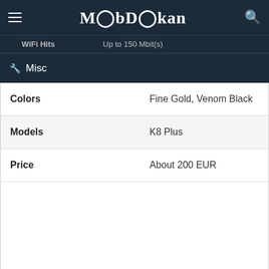MobDokan
Wifi: WiFi   Up to 150 Mbit/s
Misc
| Property | Value |
| --- | --- |
| Colors | Fine Gold, Venom Black |
| Models | K8 Plus |
| Price | About 200 EUR |